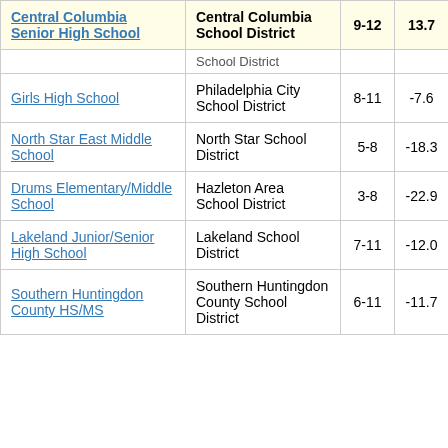| School | District | Grades | Change |
| --- | --- | --- | --- |
| Central Columbia Senior High School | Central Columbia School District | 9-12 | 13.7 |
| (School District — partial/clipped row) | School District |  |  |
| Girls High School | Philadelphia City School District | 8-11 | -7.6 |
| North Star East Middle School | North Star School District | 5-8 | -18.3 |
| Drums Elementary/Middle School | Hazleton Area School District | 3-8 | -22.9 |
| Lakeland Junior/Senior High School | Lakeland School District | 7-11 | -12.0 |
| Southern Huntingdon County HS/MS | Southern Huntingdon County School District | 6-11 | -11.7 |